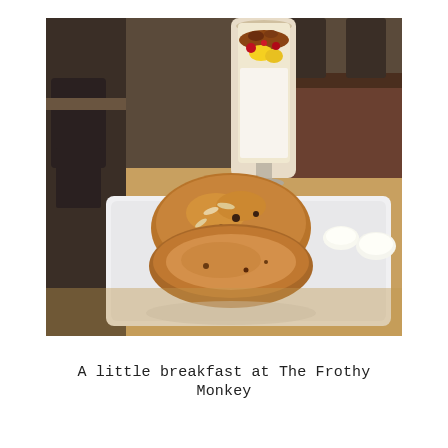[Figure (photo): A photo of a breakfast spread at The Frothy Monkey cafe: a scone/bread roll sliced open on a long white rectangular plate with two dollops of cream/butter, and a tall glass parfait with layers of yogurt, granola, and berries in the background. The setting is a cafe with wooden tables and dark chairs.]
A little breakfast at The Frothy Monkey